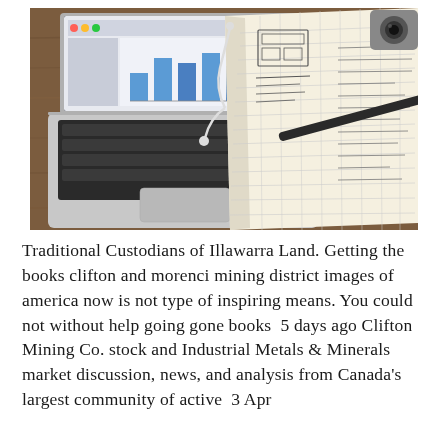[Figure (photo): Overhead view of a MacBook laptop with a bar chart visible on screen, an open grid notebook with sketches and a pen lying across it, earphones, and a camera, all resting on a wooden surface.]
Traditional Custodians of Illawarra Land. Getting the books clifton and morenci mining district images of america now is not type of inspiring means. You could not without help going gone books  5 days ago Clifton Mining Co. stock and Industrial Metals & Minerals market discussion, news, and analysis from Canada's largest community of active  3 Apr